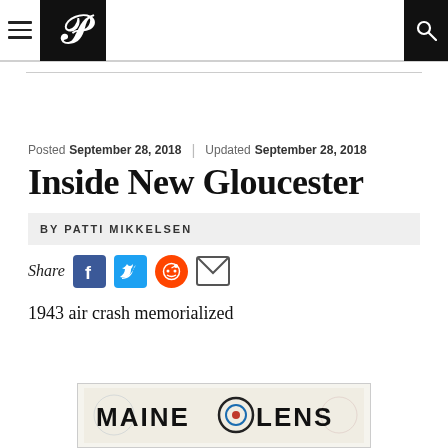P [Portland Press Herald logo]
Posted September 28, 2018 | Updated September 28, 2018
Inside New Gloucester
BY PATTI MIKKELSEN
Share
1943 air crash memorialized
[Figure (logo): Maine Lens advertisement banner with logo text 'MAINE LENS' and a circular lens/camera graphic]